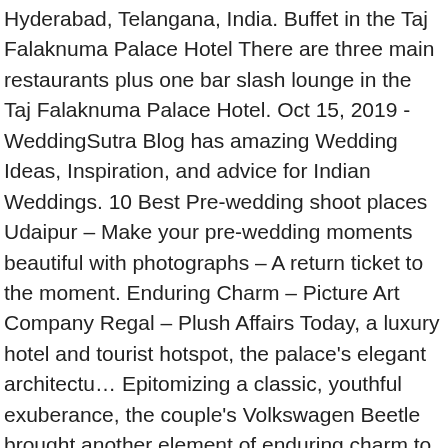Hyderabad, Telangana, India. Buffet in the Taj Falaknuma Palace Hotel There are three main restaurants plus one bar slash lounge in the Taj Falaknuma Palace Hotel. Oct 15, 2019 - WeddingSutra Blog has amazing Wedding Ideas, Inspiration, and advice for Indian Weddings. 10 Best Pre-wedding shoot places Udaipur – Make your pre-wedding moments beautiful with photographs – A return ticket to the moment. Enduring Charm – Picture Art Company Regal – Plush Affairs Today, a luxury hotel and tourist hotspot, the palace's elegant architectu… Epitomizing a classic, youthful exuberance, the couple's Volkswagen Beetle brought another element of enduring charm to the shoot. They offer you with an event space capacity of 400 people as they make sure that you and your guests receive the royal good treatment by the management and staff of Taj Falaknuma Palace. A wedding at the Taj has meant something special for generations. Adding a whole lot of royal touches and an enduring charm is the gorgeous architecture of Taj Falaknuma Palace. Enter your details below to get Wedding Inspiration for your Big Day right